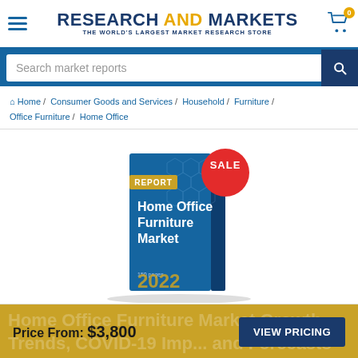RESEARCH AND MARKETS — THE WORLD'S LARGEST MARKET RESEARCH STORE
Search market reports
Home / Consumer Goods and Services / Household / Furniture / Office Furniture / Home Office
[Figure (illustration): Book cover for 'Home Office Furniture Market 2022' report with a red SALE badge, showing 150 pages, published 2022]
Price From: $3,800   VIEW PRICING